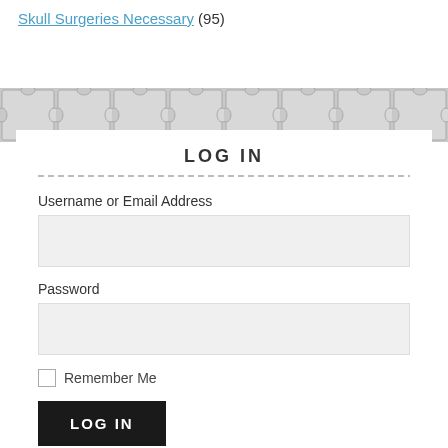Skull Surgeries Necessary (95)
[Figure (illustration): Puzzle piece pattern background banner in grey]
LOG IN
Username or Email Address
Password
Remember Me
LOG IN